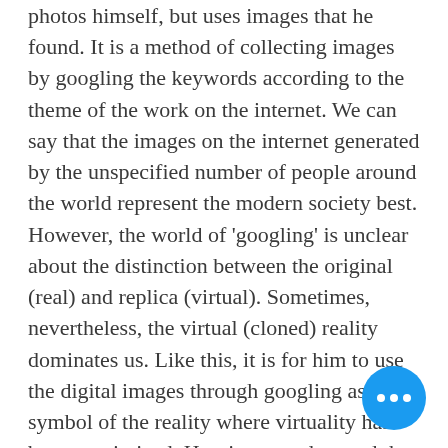photos himself, but uses images that he found. It is a method of collecting images by googling the keywords according to the theme of the work on the internet. We can say that the images on the internet generated by the unspecified number of people around the world represent the modern society best. However, the world of 'googling' is unclear about the distinction between the original (real) and replica (virtual). Sometimes, nevertheless, the virtual (cloned) reality dominates us. Like this, it is for him to use the digital images through googling as the symbol of the reality where virtuality has been maximized. He tries to understand the invisible inner(real) one, i.e. the true nature of the world, through the external (fake) symbols of the googled image which has the representative of the present age.